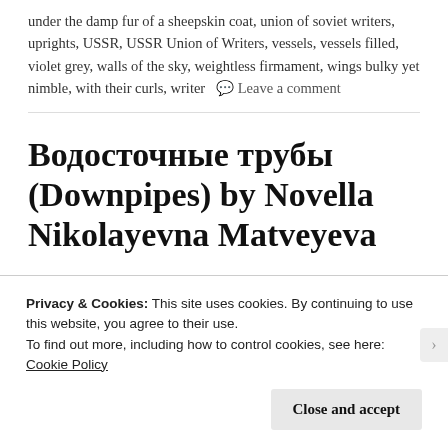under the damp fur of a sheepskin coat, union of soviet writers, uprights, USSR, USSR Union of Writers, vessels, vessels filled, violet grey, walls of the sky, weightless firmament, wings bulky yet nimble, with their curls, writer   💬 Leave a comment
Водосточные трубы (Downpipes) by Novella Nikolayevna Matveyeva
Evening rain
T...
Privacy & Cookies: This site uses cookies. By continuing to use this website, you agree to their use.
To find out more, including how to control cookies, see here: Cookie Policy
Close and accept